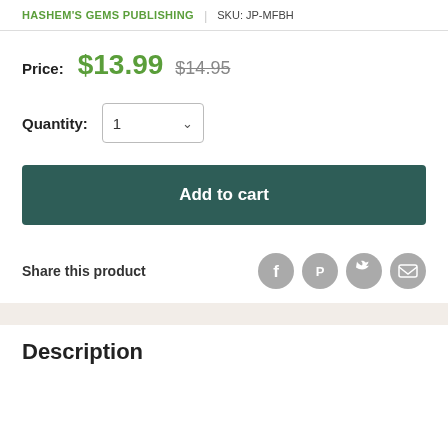HASHEM'S GEMS PUBLISHING | SKU: JP-MFBH
Price: $13.99 $14.95
Quantity: 1
Add to cart
Share this product
Description